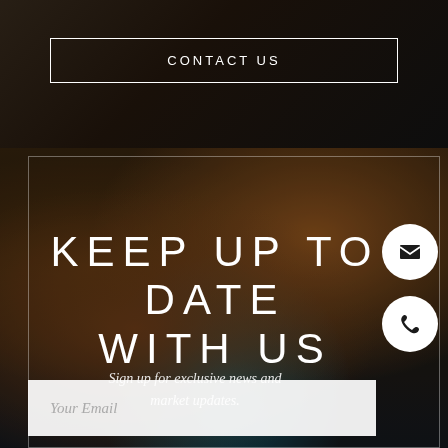[Figure (photo): Dark top section with blurred background photo, containing a CONTACT US button with white border]
CONTACT US
[Figure (photo): Aerial view of a luxury house with red tile roof, pool, and palm trees, dark overlay]
KEEP UP TO DATE WITH US
Sign up for exclusive news and market updates.
Your Email